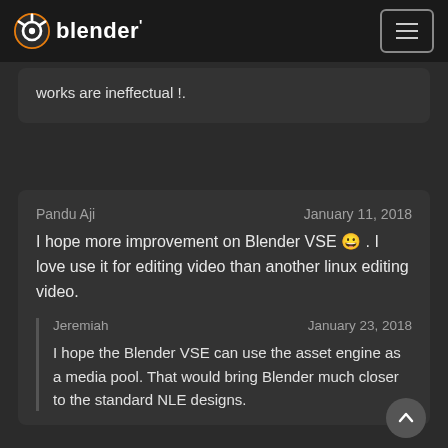Blender (logo) — navigation bar with hamburger menu
works are ineffectual !.
Pandu Aji — January 11, 2018
I hope more improvement on Blender VSE 😀 . I love use it for editing video than another linux editing video.
Jeremiah — January 23, 2018
I hope the Blender VSE can use the asset engine as a media pool. That would bring Blender much closer to the standard NLE designs.